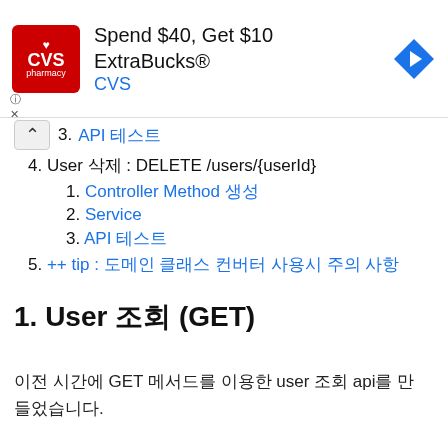[Figure (other): CVS pharmacy advertisement banner: Spend $40, Get $10 ExtraBucks® CVS, with CVS logo and navigation arrow icon]
3. API 테스트
4. User 삭제 : DELETE /users/{userId}
1. Controller Method 생성
2. Service
3. API 테스트
5. ++ tip : 도메인 클래스 컨버터 사용시 주의 사항
1. User 조회 (GET)
이전 시간에 GET 메서드를 이용한 user 조회 api를 만들었습니다.